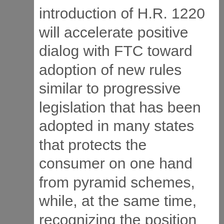introduction of H.R. 1220 will accelerate positive dialog with FTC toward adoption of new rules similar to progressive legislation that has been adopted in many states that protects the consumer on one hand from pyramid schemes, while, at the same time, recognizing the position of the direct selling industry that personal use by distributors should be counted as legitimate end destinations of company product sold by network marketing